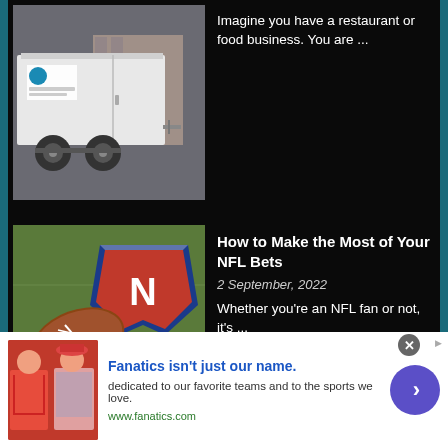[Figure (photo): Photo of a white refrigerated trailer/mobile cold storage unit on wheels, parked on a stone-paved surface]
Imagine you have a restaurant or food business. You are ...
[Figure (photo): Photo of an American football and NFL shield logo with cash money bills in the background on grass]
How to Make the Most of Your NFL Bets
2 September, 2022
Whether you're an NFL fan or not, it's ...
[Figure (photo): Advertisement banner for Fanatics showing sports apparel on models]
Fanatics isn't just our name.
dedicated to our favorite teams and to the sports we love.
www.fanatics.com